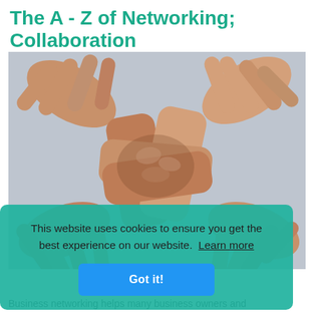The A - Z of Networking; Collaboration
[Figure (photo): Four people gripping each other's wrists in a square formation symbolising teamwork and collaboration, photographed from above against a light background.]
This website uses cookies to ensure you get the best experience on our website. Learn more
Got it!
Business networking helps many business owners and